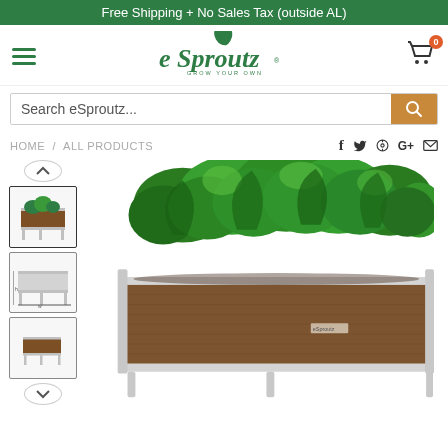Free Shipping + No Sales Tax (outside AL)
[Figure (logo): eSproutz logo with leaf icon and tagline GROW YOUR OWN]
[Figure (screenshot): Search bar with text 'Search eSproutz...' and orange search button]
HOME / ALL PRODUCTS
[Figure (photo): Raised garden planter bed with metal legs (wood grain sides, silver frame) filled with growing lettuce/leafy greens, shown with three thumbnail views on left]
Social sharing icons: f (Facebook), bird (Twitter), pin (Pinterest), G+ (Google Plus), envelope (Email)